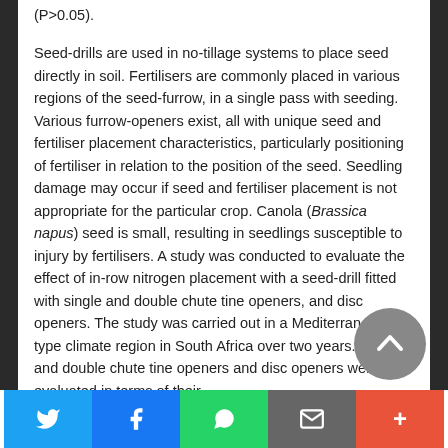(P>0.05).
Seed-drills are used in no-tillage systems to place seed directly in soil. Fertilisers are commonly placed in various regions of the seed-furrow, in a single pass with seeding. Various furrow-openers exist, all with unique seed and fertiliser placement characteristics, particularly positioning of fertiliser in relation to the position of the seed. Seedling damage may occur if seed and fertiliser placement is not appropriate for the particular crop. Canola (Brassica napus) seed is small, resulting in seedlings susceptible to injury by fertilisers. A study was conducted to evaluate the effect of in-row nitrogen placement with a seed-drill fitted with single and double chute tine openers, and disc openers. The study was carried out in a Mediterranean-type climate region in South Africa over two years. Single and double chute tine openers and disc openers were evaluated in terms of their